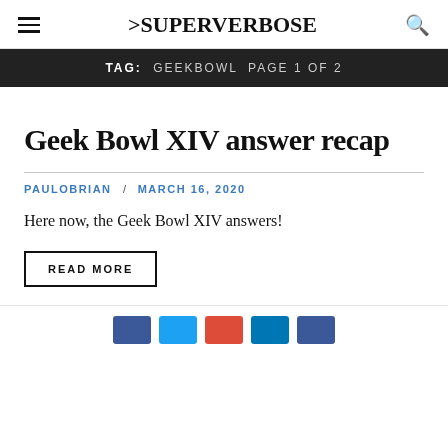>SUPERVERBOSE
TAG: GEEKBOWL PAGE 1 OF 2
Geek Bowl XIV answer recap
PAULOBRIAN / MARCH 16, 2020
Here now, the Geek Bowl XIV answers!
READ MORE